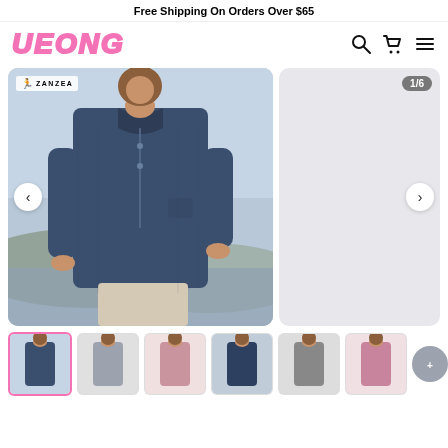Free Shipping On Orders Over $65
UEONG
[Figure (photo): Main product photo of a woman wearing a navy blue linen tunic blouse with mandarin collar and 3/4 sleeves, ZANZEA branded. Shown with navigation arrows and 1/6 badge on side panel.]
[Figure (photo): Thumbnail row showing 6 color variants of the tunic blouse: navy blue, gray, pink, dark blue, gray, and pink. One circular thumbnail partially visible on right.]